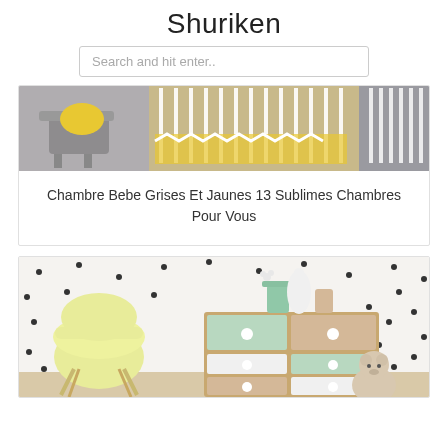Shuriken
Search and hit enter..
[Figure (photo): Baby nursery room with grey chair with yellow pillow and white crib with yellow chevron bedding]
Chambre Bebe Grises Et Jaunes 13 Sublimes Chambres Pour Vous
[Figure (photo): Child's room with white polka dot wall, pastel colored dresser with mint, white and beige drawers, yellow chair, white vases, and teddy bear]